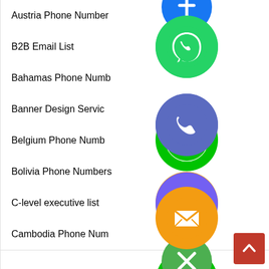Austria Phone Numbers
B2B Email List
Bahamas Phone Numbers
Banner Design Service
Belgium Phone Numbers
Bolivia Phone Numbers
C-level executive list
Cambodia Phone Numbers
[Figure (illustration): Floating social media / contact icons (WhatsApp green, phone blue, email orange, LINE green, Viber purple, close green) overlaid on the list]